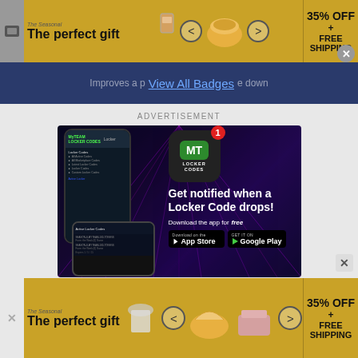[Figure (screenshot): Top banner advertisement: 'The perfect gift' with food images and navigation arrows, 35% OFF + FREE SHIPPING on right side]
View All Badges
ADVERTISEMENT
[Figure (screenshot): MyTeam Locker Codes app advertisement on dark purple background with laser effects. Shows smartphone with the app, MT Locker Codes logo with notification badge. Text: 'Get notified when a Locker Code drops!' Download the app for free - App Store and Google Play buttons.]
[Figure (screenshot): Bottom banner advertisement: 'The perfect gift' with food/drink images and navigation arrows, 35% OFF + FREE SHIPPING on right side]